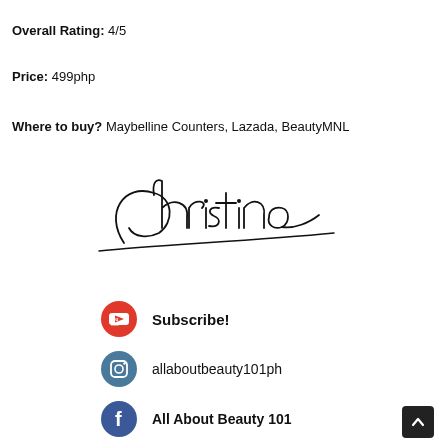Overall Rating: 4/5
Price: 499php
Where to buy? Maybelline Counters, Lazada, BeautyMNL
[Figure (illustration): Cursive handwritten signature reading 'christine']
[Figure (logo): YouTube icon (red) with Subscribe! text, Instagram icon (gray-blue) with allaboutbeauty101ph text, Facebook icon (blue) with All About Beauty 101 text]